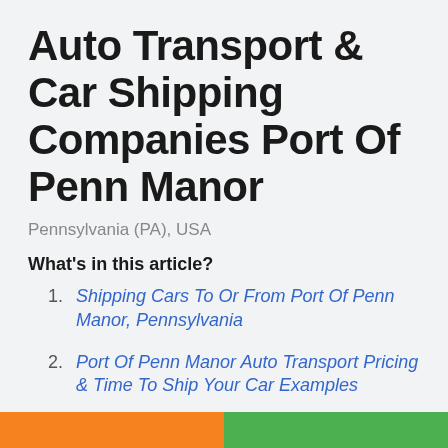Auto Transport & Car Shipping Companies Port Of Penn Manor
Pennsylvania (PA), USA
What's in this article?
Shipping Cars To Or From Port Of Penn Manor, Pennsylvania
Port Of Penn Manor Auto Transport Pricing & Time To Ship Your Car Examples
Hire Reputable Shipping Company
Ship Car To Another State